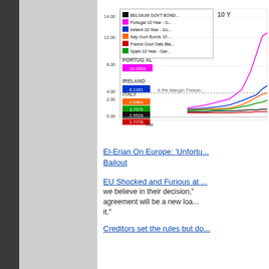[Figure (line-chart): Line chart showing 10-year government bond yields for Belgium, Portugal, Ireland, Italy, France, and Spain. Portugal highest at 10.0568, Ireland at 6.1181, Italy at 4.5464, Spain at 3.7575, Belgium at 2.5528, France at 1.7778. X-axis shows Mar. Y-axis from 0 to 14.00. Annotation: 4.5% Margin Threshold.]
El-Erian On Europe: 'Unfortun... Bailout
EU Shocked and Furious at ... we believe in their decision," ... agreement will be a new loa... it."
Creditors set the rules but do...